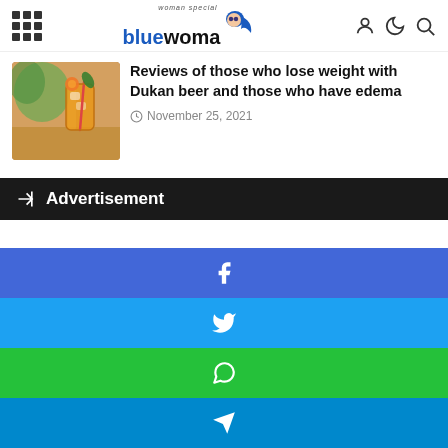bluewoman - woman special
Reviews of those who lose weight with Dukan beer and those who have edema
November 25, 2021
Advertisement
[Figure (other): Facebook share button bar (blue)]
[Figure (other): Twitter share button bar (light blue)]
[Figure (other): WhatsApp share button bar (green)]
[Figure (other): Telegram share button bar (dark blue)]